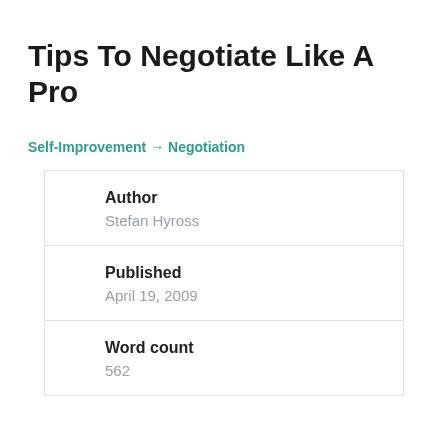Tips To Negotiate Like A Pro
Self-Improvement → Negotiation
| Author | Stefan Hyross |
| Published | April 19, 2009 |
| Word count | 562 |